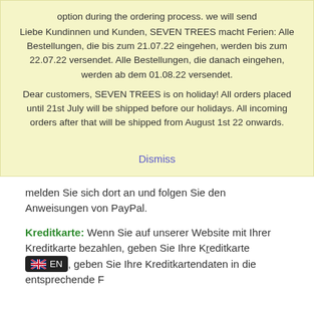option during the ordering process. we will send
Liebe Kundinnen und Kunden, SEVEN TREES macht Ferien: Alle Bestellungen, die bis zum 21.07.22 eingehen, werden bis zum 22.07.22 versendet. Alle Bestellungen, die danach eingehen, werden ab dem 01.08.22 versendet.
Dear customers, SEVEN TREES is on holiday! All orders placed until 21st July will be shipped before our holidays. All incoming orders after that will be shipped from August 1st 22 onwards.
Dismiss
melden Sie sich dort an und folgen Sie den Anweisungen von PayPal.
Kreditkarte: Wenn Sie auf unserer Website mit Ihrer Kreditkarte bezahlen, geben Sie Ihre K...ndaten in die entsprechende F... Die Zahlung wird durch...